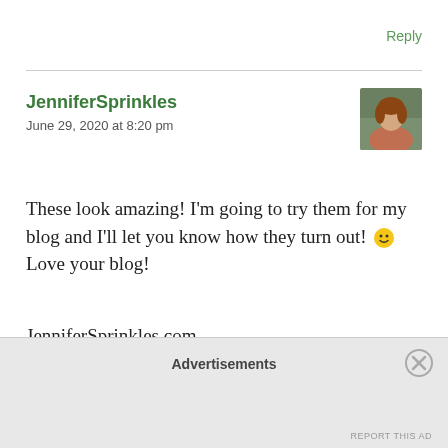Reply
JenniferSprinkles
June 29, 2020 at 8:20 pm
[Figure (photo): Avatar photo of a woman with reddish-brown top, outdoor background]
These look amazing! I'm going to try them for my blog and I'll let you know how they turn out! 🙂 Love your blog!

JenniferSprinkles.com
Like
Advertisements